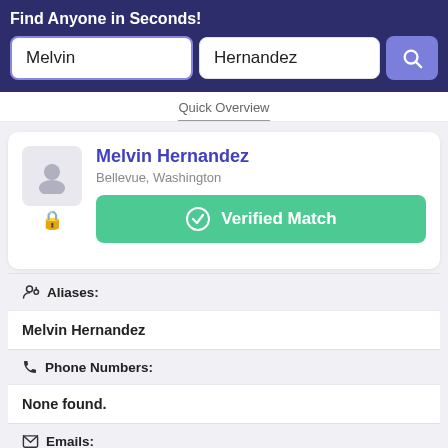Find Anyone in Seconds!
Melvin | Hernandez (search fields)
Quick Overview
Melvin Hernandez
Bellevue, Washington
Verified Match
Aliases:
Melvin Hernandez
Phone Numbers:
None found.
Emails:
mhmeov@gmail.com